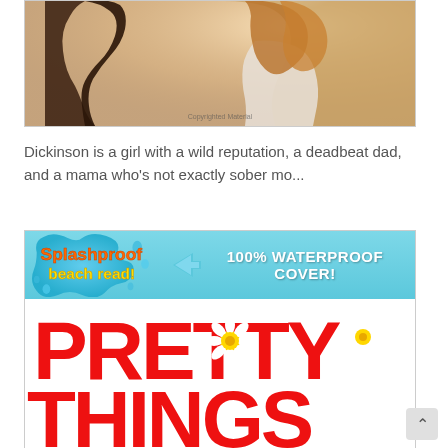[Figure (photo): Two young women with long hair shown from behind/side, warm golden sunlit tones, with 'Copyrighted Material' watermark text]
Dickinson is a girl with a wild reputation, a deadbeat dad, and a mama who's not exactly sober mo...
[Figure (illustration): Book cover for 'Pretty Things' showing a splash-proof beach read banner with '100% Waterproof Cover!' badge on blue background, and large red 'PRETTY THINGS' text with daisy flowers on white background]